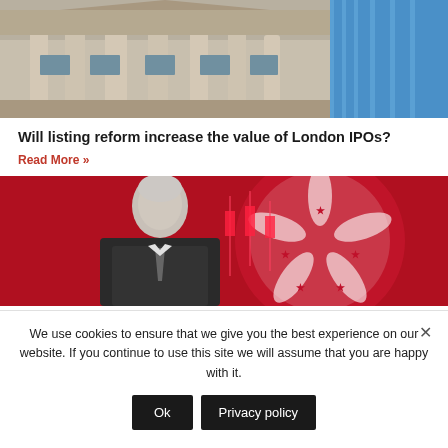[Figure (photo): Photo of classical stone building with columns (Bank of England style) alongside modern glass skyscrapers against blue sky]
Will listing reform increase the value of London IPOs?
Read More »
[Figure (photo): Older white-haired man in suit against red background with Hong Kong flag and stock market candlestick chart overlay]
We use cookies to ensure that we give you the best experience on our website. If you continue to use this site we will assume that you are happy with it.